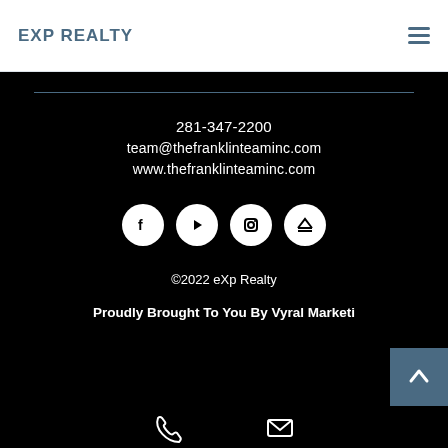EXP REALTY
281-347-2200
team@thefranklinteaminc.com
www.thefranklinteaminc.com
[Figure (other): Social media icons: Facebook, YouTube, Instagram, Zillow]
©2022 eXp Realty
Proudly Brought To You By Vyral Marketing
[Figure (other): Phone and email icons at the bottom]
[Figure (other): Back to top button (blue square with up arrow)]